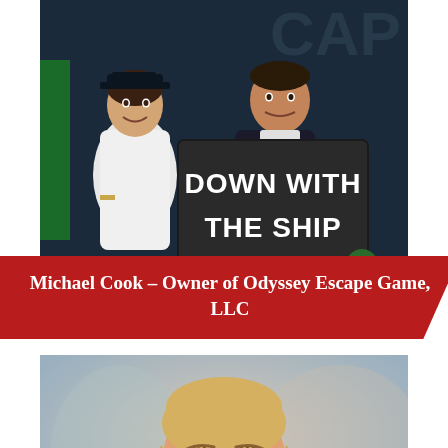[Figure (photo): Two people in costumes/uniforms holding a dark sign reading 'DOWN WITH THE SHIP' in bold white text. Background shows partial text 'CAP' suggesting an escape game venue.]
Michael Cook – Owner of Odyssey Escape Game, LLC
[Figure (photo): Portrait of a smiling blonde woman with blue-gray eyes, wearing drop earrings, photographed in a softly lit indoor setting.]